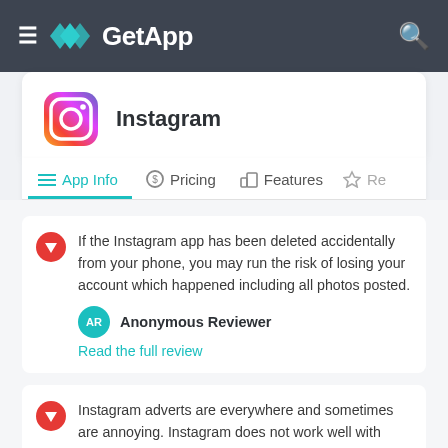GetApp
Instagram
App Info | Pricing | Features | Re
If the Instagram app has been deleted accidentally from your phone, you may run the risk of losing your account which happened including all photos posted.
Anonymous Reviewer
Read the full review
Instagram adverts are everywhere and sometimes are annoying. Instagram does not work well with unstable Internet connection.
Oliwia B